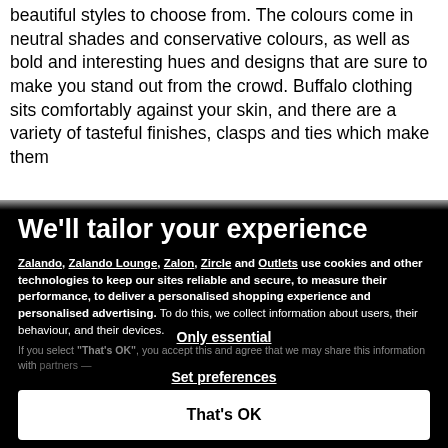beautiful styles to choose from. The colours come in neutral shades and conservative colours, as well as bold and interesting hues and designs that are sure to make you stand out from the crowd. Buffalo clothing sits comfortably against your skin, and there are a variety of tasteful finishes, clasps and ties which make them perfect...
We'll tailor your experience
Zalando, Zalando Lounge, Zalon, Zircle and Outlets use cookies and other technologies to keep our sites reliable and secure, to measure their performance, to deliver a personalised shopping experience and personalised advertising. To do this, we collect information about users, their behaviour, and their devices.
If you select "That's OK", you accept this and agree that we may share this information with...
Only essential
Set preferences
That's OK